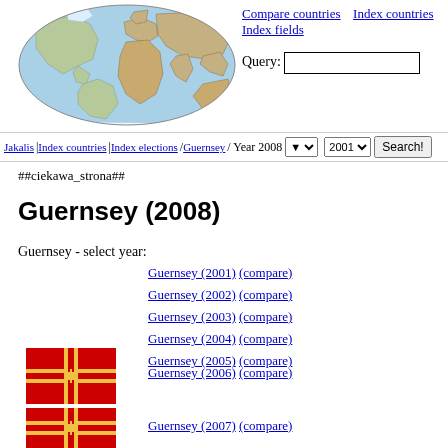[Figure (map): World map shown as an oval/elliptical projection with terrain/physical features]
Compare countries   Index countries
Index fields
Query:
Jakalis / Index countries / Guernsey / Year 2008   2001   Search!
##ciekawa_strona##
Guernsey (2008)
Guernsey - select year:
Guernsey (2001) (compare)
Guernsey (2002) (compare)
Guernsey (2003) (compare)
Guernsey (2004) (compare)
Guernsey (2005) (compare)
[Figure (illustration): Flag of Guernsey - red background with yellow-outlined gold cross]
Guernsey (2006) (compare)
[Figure (illustration): Flag of Guernsey - red background with yellow-outlined gold cross (partial)]
Guernsey (2007) (compare)